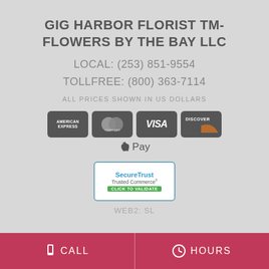GIG HARBOR FLORIST TM- FLOWERS BY THE BAY LLC
LOCAL: (253) 851-9554
TOLLFREE: (800) 363-7114
ALL PRICES SHOWN IN US DOLLARS
[Figure (logo): Payment method logos: American Express, Mastercard, Visa, Discover, and Apple Pay]
[Figure (logo): SecureTrust Trusted Commerce badge with CLICK TO VALIDATE button]
WEB2: SL...
CALL   HOURS